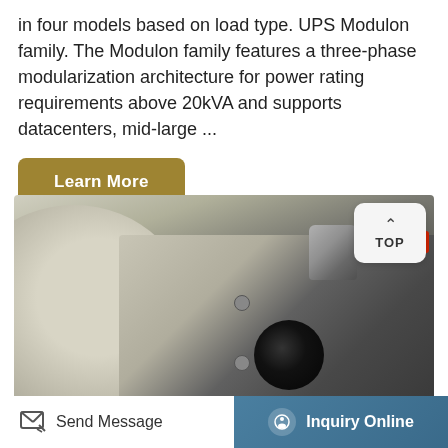in four models based on load type. UPS Modulon family. The Modulon family features a three-phase modularization architecture for power rating requirements above 20kVA and supports datacenters, mid-large ...
[Figure (other): Learn More button — golden/tan rounded rectangle button with white bold text]
[Figure (photo): Close-up photograph of an industrial UPS or electronic equipment showing a cream/beige housing with a ribbed metal knob on top, a dark grey textured panel, screws, a large circular black port opening, and a red button. A large circular disc is visible on the left side.]
[Figure (other): TOP navigation button — white rounded rectangle with upward chevron icon and text 'TOP']
Send Message
Inquiry Online